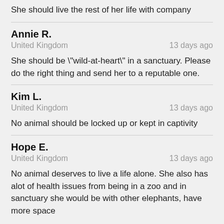She should live the rest of her life with company
Annie R.
United Kingdom · 13 days ago
She should be "wild-at-heart" in a sanctuary. Please do the right thing and send her to a reputable one.
Kim L.
United Kingdom · 13 days ago
No animal should be locked up or kept in captivity
Hope E.
United Kingdom · 13 days ago
No animal deserves to live a life alone. She also has alot of health issues from being in a zoo and in sanctuary she would be with other elephants, have more space